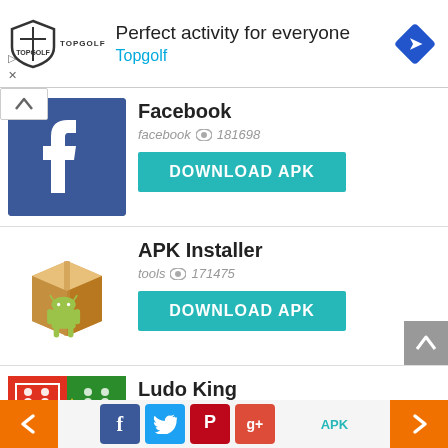[Figure (infographic): Topgolf advertisement banner with shield logo, text 'Perfect activity for everyone', 'Topgolf' in cyan, and a blue diamond navigation arrow icon]
Facebook
facebook  181698
DOWNLOAD APK
APK Installer
tools  171475
DOWNLOAD APK
Ludo King
ludo  125775